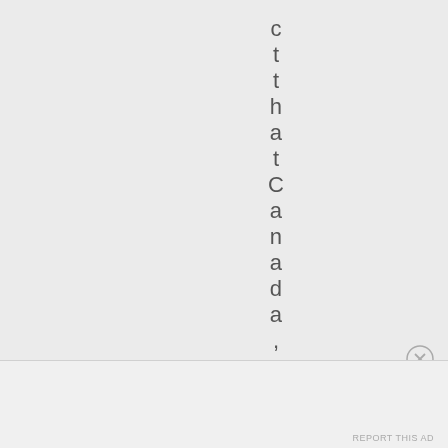c t t h a t C a n a d a ,
Advertisements
REPORT THIS AD